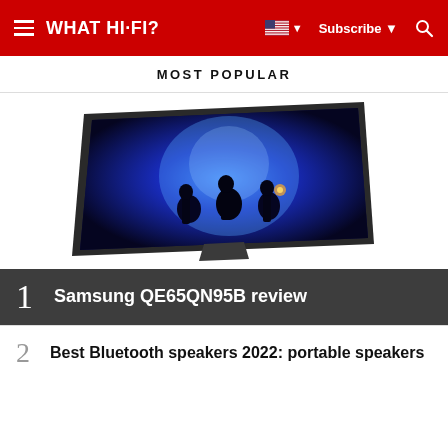WHAT HI-FI? — Subscribe — Search
MOST POPULAR
[Figure (photo): Samsung TV displaying a blue-lit concert scene with silhouettes of performers, shown in perspective view from front-left angle]
1 Samsung QE65QN95B review
2 Best Bluetooth speakers 2022: portable speakers